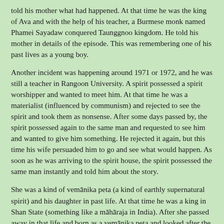told his mother what had happened. At that time he was the king of Ava and with the help of his teacher, a Burmese monk named Phamei Sayadaw conquered Taunggnoo kingdom. He told his mother in details of the episode. This was remembering one of his past lives as a young boy.
Another incident was happening around 1971 or 1972, and he was still a teacher in Rangoon University. A spirit possessed a spirit worshipper and wanted to meet him. At that time he was a materialist (influenced by communism) and rejected to see the spirit and took them as nonsense. After some days passed by, the spirit possessed again to the same man and requested to see him and wanted to give him something. He rejected it again, but this time his wife persuaded him to go and see what would happen. As soon as he was arriving to the spirit house, the spirit possessed the same man instantly and told him about the story.
She was a kind of vemānika peta (a kind of earthly supernatural spirit) and his daughter in past life. At that time he was a king in Shan State (something like a māhāraja in India). After she passed away in that life and born as a vemānika peta and looked after the treasures they left behind. He didn't believe what she said and asked her to show him the evidences. So, the spirit with her psychic power gave him some ancient silver coins with a peacock symbol and letters on it in front of them via the